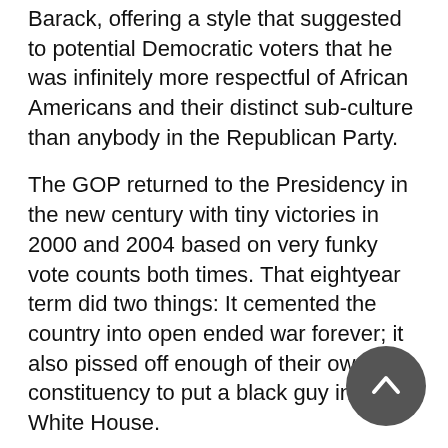Barack, offering a style that suggested to potential Democratic voters that he was infinitely more respectful of African Americans and their distinct sub-culture than anybody in the Republican Party.
The GOP returned to the Presidency in the new century with tiny victories in 2000 and 2004 based on very funky vote counts both times. That eightyear term did two things: It cemented the country into open ended war forever; it also pissed off enough of their own constituency to put a black guy in the White House.
There would be no way to rationalize a black president playing to their racist base. So Big Money changed sides, abandoning the Angry White Males and the women who could stand them. Now corporate America sponsors Black Lives Matter and